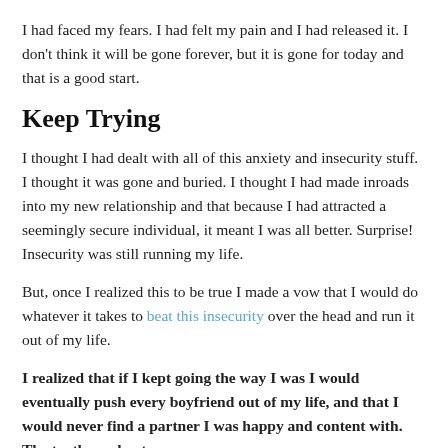I had faced my fears. I had felt my pain and I had released it. I don't think it will be gone forever, but it is gone for today and that is a good start.
Keep Trying
I thought I had dealt with all of this anxiety and insecurity stuff. I thought it was gone and buried. I thought I had made inroads into my new relationship and that because I had attracted a seemingly secure individual, it meant I was all better. Surprise! Insecurity was still running my life.
But, once I realized this to be true I made a vow that I would do whatever it takes to beat this insecurity over the head and run it out of my life.
I realized that if I kept going the way I was I would eventually push every boyfriend out of my life, and that I would never find a partner I was happy and content with. The truth can hurt.